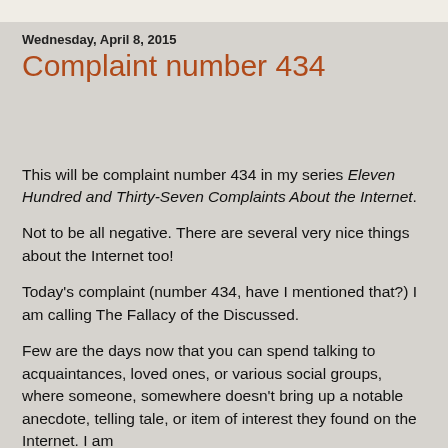Wednesday, April 8, 2015
Complaint number 434
This will be complaint number 434 in my series Eleven Hundred and Thirty-Seven Complaints About the Internet.
Not to be all negative. There are several very nice things about the Internet too!
Today's complaint (number 434, have I mentioned that?) I am calling The Fallacy of the Discussed.
Few are the days now that you can spend talking to acquaintances, loved ones, or various social groups, where someone, somewhere doesn't bring up a notable anecdote, telling tale, or item of interest they found on the Internet. I am